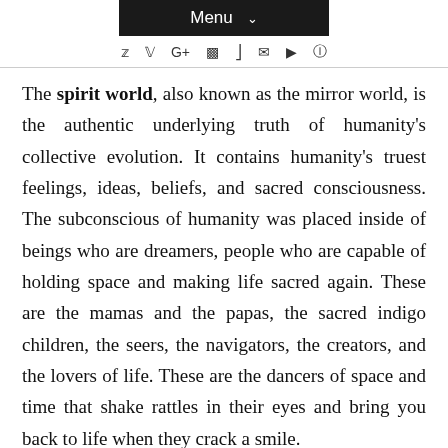Menu
The spirit world, also known as the mirror world, is the authentic underlying truth of humanity's collective evolution. It contains humanity's truest feelings, ideas, beliefs, and sacred consciousness. The subconscious of humanity was placed inside of beings who are dreamers, people who are capable of holding space and making life sacred again. These are the mamas and the papas, the sacred indigo children, the seers, the navigators, the creators, and the lovers of life. These are the dancers of space and time that shake rattles in their eyes and bring you back to life when they crack a smile.
Each and every human being, every plant, animal, or element of creation has a mirror world/spirit world identity. We exist as multidimensional beings with interior and exterior landscapes. We are capable of manifesting the sacred dream,